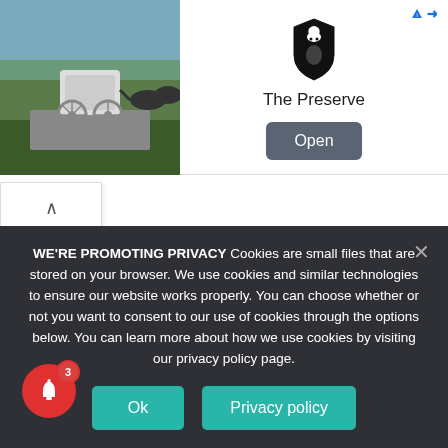[Figure (screenshot): Advertisement banner showing a horse-drawn carriage photo on the left, a shield/ram logo icon in the center, 'The Preserve' text, and an 'Open' button on the right. AdChoices icon top-right.]
[Figure (other): Collapse/chevron button below the ad banner]
Asia Cup 2022 Match Schedule
The match dates are as follows:
WE'RE PROMOTING PRIVACY Cookies are small files that are stored on your browser. We use cookies and similar technologies to ensure our website works properly. You can choose whether or not you want to consent to our use of cookies through the options below. You can learn more about how we use cookies by visiting our privacy policy page.
[Figure (other): Cookie consent overlay with Ok and Privacy policy buttons]